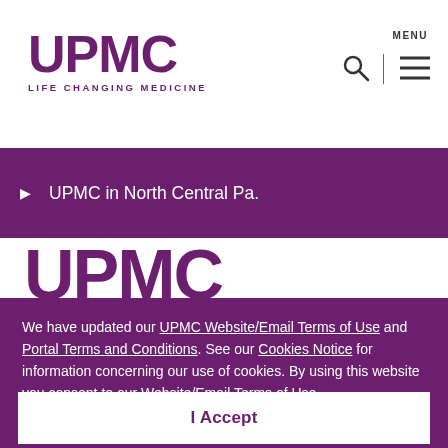UPMC LIFE CHANGING MEDICINE
UPMC in North Central Pa.
[Figure (logo): UPMC logo partially visible, large purple text]
We have updated our UPMC Website/Email Terms of Use and Portal Terms and Conditions. See our Cookies Notice for information concerning our use of cookies. By using this website you consent to our Website/Email Terms of Use.
I Accept